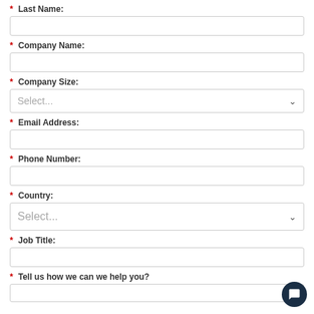* Last Name:
* Company Name:
* Company Size:
* Email Address:
* Phone Number:
* Country:
* Job Title:
* Tell us how we can we help you?